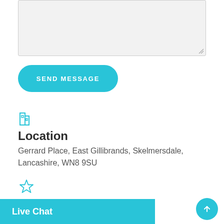[Figure (other): Large grey textarea input field with resize handle in bottom-right corner]
SEND MESSAGE
[Figure (other): Building/location icon in cyan outline style]
Location
Gerrard Place, East Gillibrands, Skelmersdale, Lancashire, WN8 9SU
[Figure (other): Star icon in cyan outline style]
E-mail
General Enquiries:
Live Chat